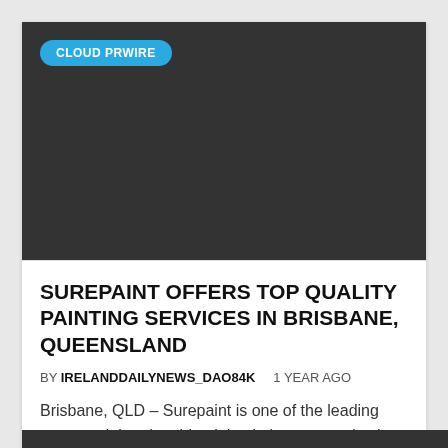[Figure (other): Dark grey image placeholder area with CLOUD PRWIRE badge in top left corner]
SUREPAINT OFFERS TOP QUALITY PAINTING SERVICES IN BRISBANE, QUEENSLAND
BY IRELANDDAILYNEWS_DAO84K   1 YEAR AGO
Brisbane, QLD – Surepaint is one of the leading commercial and residential painting companies in